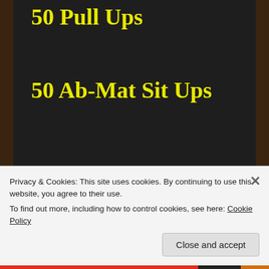50 Pull Ups
50 Ab-Mat Sit Ups
50 Push Ups
[Figure (screenshot): Advertisement banner with dark teal background showing text 'and forms.' with a pink 'Start now' button and a Crowd logo circle in the bottom right]
Privacy & Cookies: This site uses cookies. By continuing to use this website, you agree to their use.
To find out more, including how to control cookies, see here: Cookie Policy
Close and accept